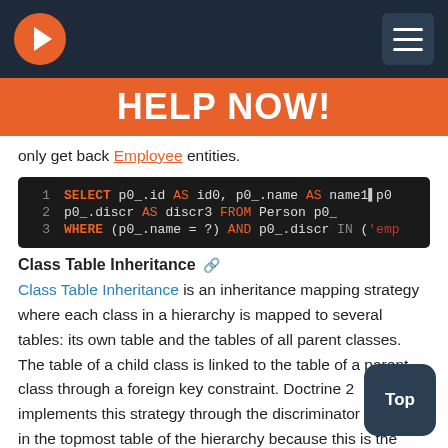Navigation bar with logo and hamburger menu
HELP NOW!
only get back Employee entities.
[Figure (screenshot): SQL code block showing: 1: SELECT p0_.id AS id0, p0_.name AS name1[...] p0 2: p0_.discr AS discr3 FROM Person p0_ 3: WHERE (p0_.name = ?) AND p0_.discr IN ('emp[...]]
Class Table Inheritance
Class Table Inheritance is an inheritance mapping strategy where each class in a hierarchy is mapped to several tables: its own table and the tables of all parent classes. The table of a child class is linked to the table of a parent class through a foreign key constraint. Doctrine 2 implements this strategy through the discriminator column in the topmost table of the hierarchy because this is the easiest way to achieve